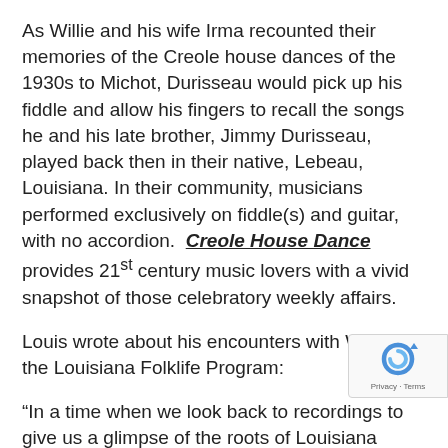As Willie and his wife Irma recounted their memories of the Creole house dances of the 1930s to Michot, Durisseau would pick up his fiddle and allow his fingers to recall the songs he and his late brother, Jimmy Durisseau, played back then in their native, Lebeau, Louisiana. In their community, musicians performed exclusively on fiddle(s) and guitar, with no accordion.  Creole House Dance provides 21st century music lovers with a vivid snapshot of those celebratory weekly affairs.
Louis wrote about his encounters with Willie for the Louisiana Folklife Program:
“In a time when we look back to recordings to give us a glimpse of the roots of Louisiana French music, we sometimes overlook the deepest wells of information…